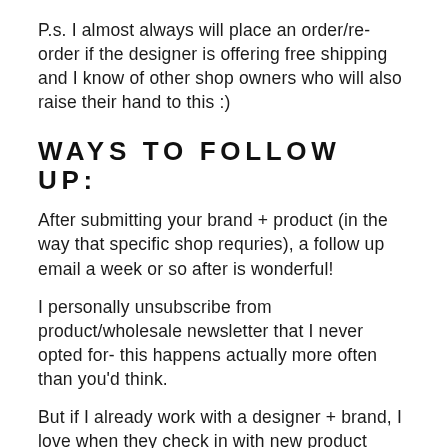P.s. I almost always will place an order/re-order if the designer is offering free shipping and I know of other shop owners who will also raise their hand to this :)
WAYS TO FOLLOW UP:
After submitting your brand + product (in the way that specific shop requries), a follow up email a week or so after is wonderful!
I personally unsubscribe from product/wholesale newsletter that I never opted for- this happens actually more often than you'd think.
But if I already work with a designer + brand, I love when they check in with new product releases and